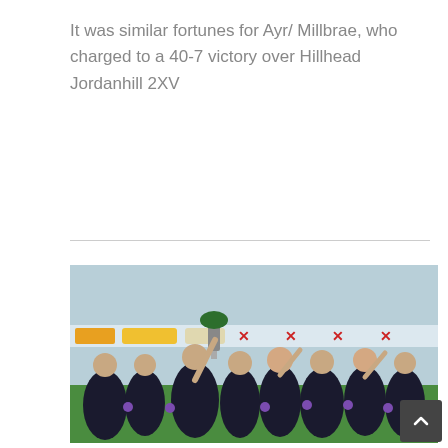It was similar fortunes for Ayr/ Millbrae, who charged to a 40-7 victory over Hillhead Jordanhill 2XV
[Figure (photo): A rugby team celebrating with a trophy, players wearing dark/black jerseys with purple medals, raising the cup on a field with sponsor banners in the background.]